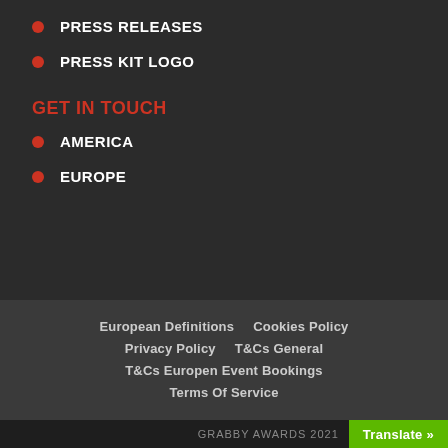PRESS RELEASES
PRESS KIT LOGO
GET IN TOUCH
AMERICA
EUROPE
European Definitions   Cookies Policy   Privacy Policy   T&Cs General   T&Cs Europen Event Bookings   Terms Of Service
GRABBY AWARDS 2021   Translate »